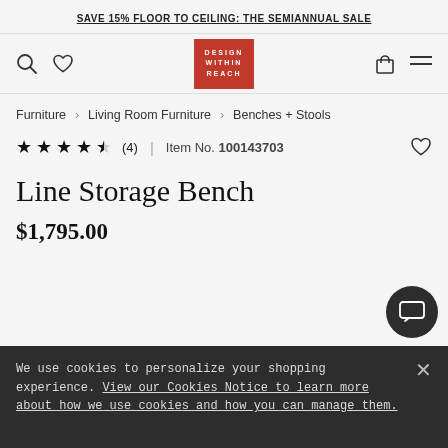SAVE 15% FLOOR TO CEILING: THE SEMIANNUAL SALE
[Figure (logo): Design Within Reach logo — red rectangle with white text reading DESIGN WITHIN REACH]
Furniture > Living Room Furniture > Benches + Stools
★★★★½ (4) | Item No. 100143703
Line Storage Bench
$1,795.00
We use cookies to personalize your shopping experience. View our Cookies Notice to learn more about how we use cookies and how you can manage them.